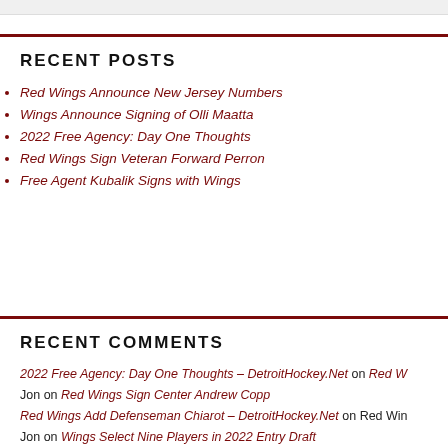RECENT POSTS
Red Wings Announce New Jersey Numbers
Wings Announce Signing of Olli Maatta
2022 Free Agency: Day One Thoughts
Red Wings Sign Veteran Forward Perron
Free Agent Kubalik Signs with Wings
RECENT COMMENTS
2022 Free Agency: Day One Thoughts – DetroitHockey.Net on Red W…
Jon on Red Wings Sign Center Andrew Copp
Red Wings Add Defenseman Chiarot – DetroitHockey.Net on Red Win…
Jon on Wings Select Nine Players in 2022 Entry Draft
Rossim Frossim Ossim Lossim on Wings Select Nine Players in 2022